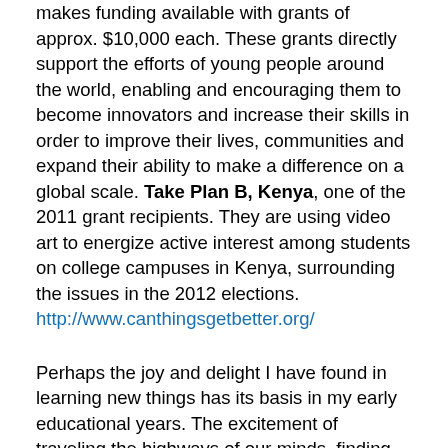makes funding available with grants of approx. $10,000 each. These grants directly support the efforts of young people around the world, enabling and encouraging them to become innovators and increase their skills in order to improve their lives, communities and expand their ability to make a difference on a global scale. Take Plan B, Kenya, one of the 2011 grant recipients. They are using video art to energize active interest among students on college campuses in Kenya, surrounding the issues in the 2012 elections. http://www.canthingsgetbetter.org/
Perhaps the joy and delight I have found in learning new things has its basis in my early educational years. The excitement of traveling the highways of our minds, finding ourselves stimulated and enriched while on a voyage of discovery— is a gift that should be given to all children, to people of all ages and all walks of life. Only by becoming